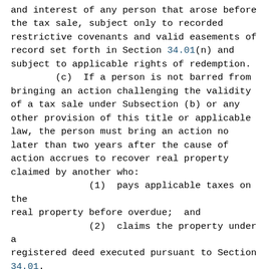and interest of any person that arose before the tax sale, subject only to recorded restrictive covenants and valid easements of record set forth in Section 34.01(n) and subject to applicable rights of redemption.
    (c)  If a person is not barred from bringing an action challenging the validity of a tax sale under Subsection (b) or any other provision of this title or applicable law, the person must bring an action no later than two years after the cause of action accrues to recover real property claimed by another who:
            (1)  pays applicable taxes on the real property before overdue;  and
            (2)  claims the property under a registered deed executed pursuant to Section 34.01.
    (d)  Subsection (c) does not apply to